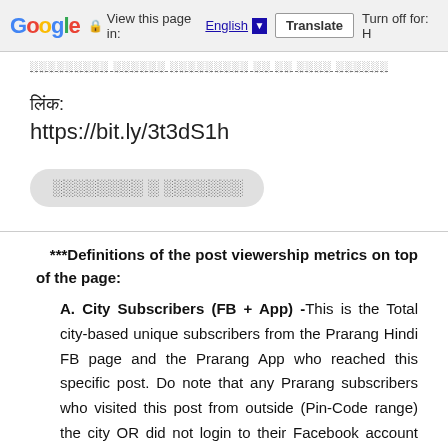Google | View this page in: English ▼ | Translate | Turn off for: H
░░░░░░░░░ ░░░░░░ ░░░░░░░░░ ░░ ░░ ░░░░ ░░░░░░
लिंक:
https://bit.ly/3t3dS1h
░░░░░░░░ ░ ░░░░░░░
***Definitions of the post viewership metrics on top of the page:
A. City Subscribers (FB + App) -This is the Total city-based unique subscribers from the Prarang Hindi FB page and the Prarang App who reached this specific post. Do note that any Prarang subscribers who visited this post from outside (Pin-Code range) the city OR did not login to their Facebook account during this time, are NOT